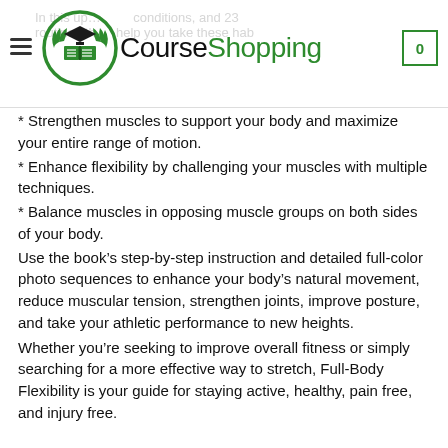CourseShopping — navigation header with logo and cart
* Strengthen muscles to support your body and maximize your entire range of motion.
* Enhance flexibility by challenging your muscles with multiple techniques.
* Balance muscles in opposing muscle groups on both sides of your body.
Use the book's step-by-step instruction and detailed full-color photo sequences to enhance your body's natural movement, reduce muscular tension, strengthen joints, improve posture, and take your athletic performance to new heights.
Whether you're seeking to improve overall fitness or simply searching for a more effective way to stretch, Full-Body Flexibility is your guide for staying active, healthy, pain free, and injury free.